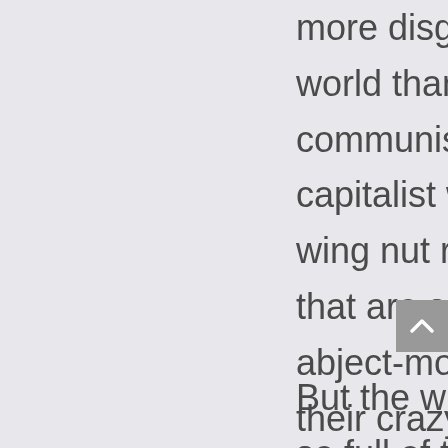more disgusting in this world than the communist and capitalist worshiping wing nut rednecks that are so absolutely abject-morialistic with their crazy obsessive worship of these two systems that do not really work.
But the with a world so full of the